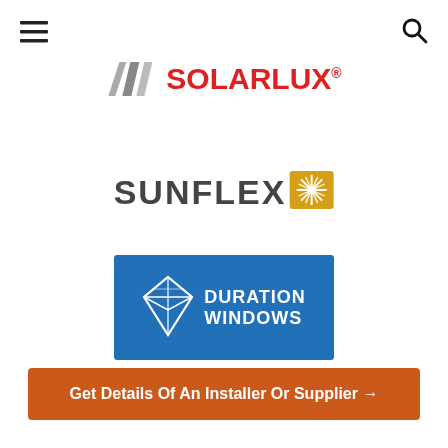[Figure (logo): Hamburger menu icon (three horizontal lines) and search magnifier icon in navigation bar]
[Figure (logo): Solarlux logo with grey folded-panel icon and red bold SOLARLUX text with registered trademark symbol]
[Figure (logo): Sunflex logo with bold dark grey SUNFLEX text and gold starburst icon on the right]
[Figure (logo): Duration Windows logo on blue background with diamond icon and DURATION WINDOWS white text]
Get Details Of An Installer Or Supplier →